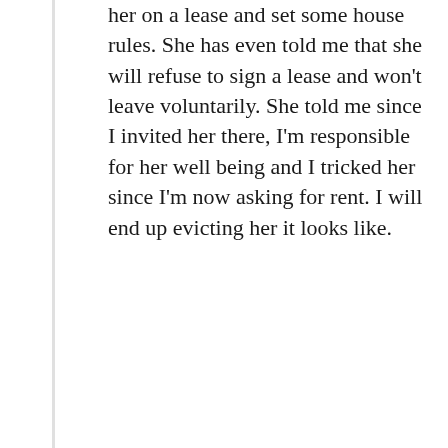her on a lease and set some house rules. She has even told me that she will refuse to sign a lease and won't leave voluntarily. She told me since I invited her there, I'm responsible for her well being and I tricked her since I'm now asking for rent. I will end up evicting her it looks like.
Reply
jen says
November 6, 2013 at 9:19 am
I have a sibling that has been living with my Husband and I on and off again for the past year. When she leves here she will stay with a friend here and a friend there. In her forties, she has been mostly unemployed for 4 years and has stated to me that she really does not want to work. She has made one bad decision